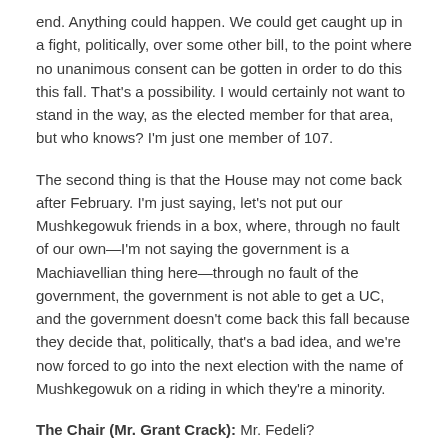end. Anything could happen. We could get caught up in a fight, politically, over some other bill, to the point where no unanimous consent can be gotten in order to do this this fall. That's a possibility. I would certainly not want to stand in the way, as the elected member for that area, but who knows? I'm just one member of 107.
The second thing is that the House may not come back after February. I'm just saying, let's not put our Mushkegowuk friends in a box, where, through no fault of our own—I'm not saying the government is a Machiavellian thing here—through no fault of the government, the government is not able to get a UC, and the government doesn't come back this fall because they decide that, politically, that's a bad idea, and we're now forced to go into the next election with the name of Mushkegowuk on a riding in which they're a minority.
The Chair (Mr. Grant Crack): Mr. Fedeli?